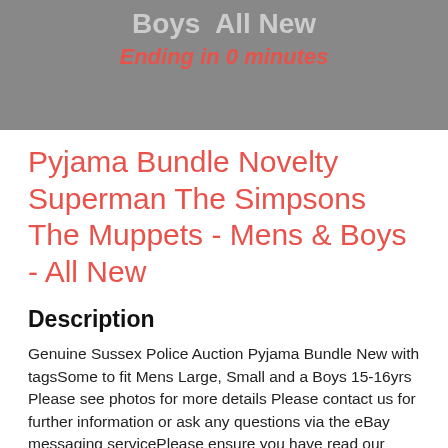[Figure (photo): Screenshot of an eBay-style auction listing page showing a grey product image with partial title text 'Boys All New' at top and a red countdown 'Ending in 0 minutes']
Pyjama Bundle Novelty Superman The Simpsons The Muppets - Mens & Boys - All New
Description
Genuine Sussex Police Auction Pyjama Bundle New with tagsSome to fit Mens Large, Small and a Boys 15-16yrs Please see photos for more details Please contact us for further information or ask any questions via the eBay messaging servicePlease ensure you have read our terms and conditions &